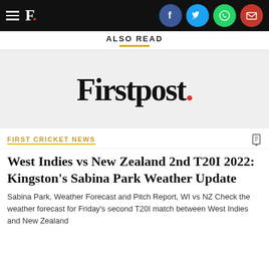F. [Firstpost logo with social icons: Facebook, Twitter, WhatsApp, Email]
ALSO READ
[Figure (logo): Firstpost. logo on grey background]
FIRST CRICKET NEWS
West Indies vs New Zealand 2nd T20I 2022: Kingston's Sabina Park Weather Update
Sabina Park, Weather Forecast and Pitch Report, WI vs NZ Check the weather forecast for Friday's second T20I match between West Indies and New Zealand